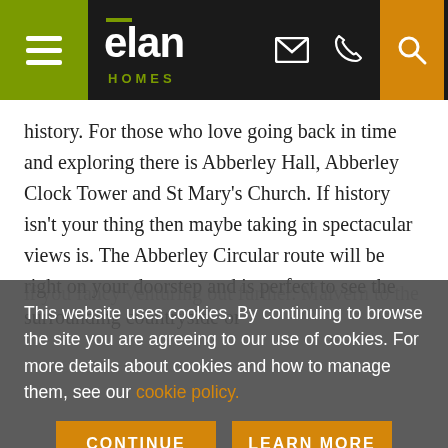elan HOMES
history. For those who love going back in time and exploring there is Abberley Hall, Abberley Clock Tower and St Mary's Church. If history isn't your thing then maybe taking in spectacular views is. The Abberley Circular route will be right on your doorstep and is perfect to see the surrounding countryside or
This website uses cookies. By continuing to browse the site you are agreeing to our use of cookies. For more details about cookies and how to manage them, see our cookie policy.
CONTINUE
LEARN MORE